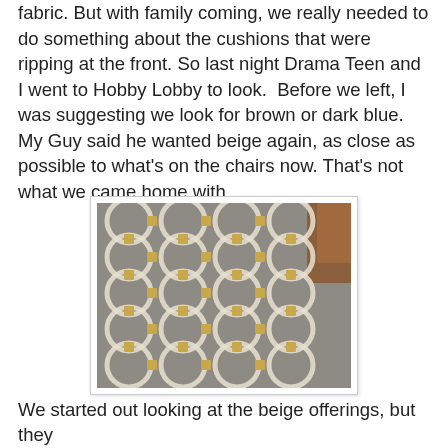fabric. But with family coming, we really needed to do something about the cushions that were ripping at the front. So last night Drama Teen and I went to Hobby Lobby to look.  Before we left, I was suggesting we look for brown or dark blue.  My Guy said he wanted beige again, as close as possible to what's on the chairs now. That's not what we came home with.
[Figure (photo): Close-up photo of gray fabric with a geometric pattern of overlapping circles connected by gold/cream rectangular links, laid flat on a surface.]
We started out looking at the beige offerings, but they